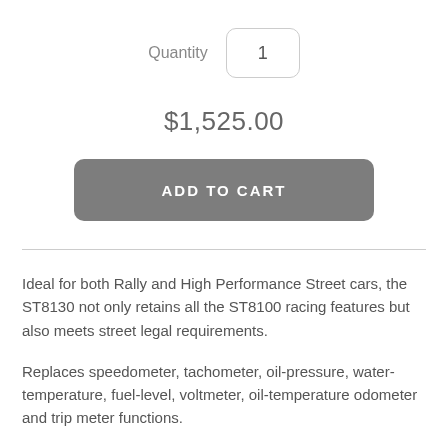Quantity   1
$1,525.00
ADD TO CART
Ideal for both Rally and High Performance Street cars, the ST8130 not only retains all the ST8100 racing features but also meets street legal requirements.
Replaces speedometer, tachometer, oil-pressure, water-temperature, fuel-level, voltmeter, oil-temperature odometer and trip meter functions.